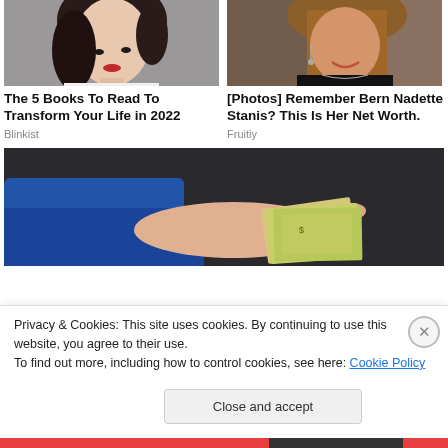[Figure (photo): Portrait photo of a young woman with dark hair and red lips, looking to the side, gray background]
[Figure (photo): Photo of a smiling woman with long brown hair wearing a black top with shoulder cutouts and a necklace, with tattoos visible in background]
The 5 Books To Read To Transform Your Life in 2022
Blinkist
[Photos] Remember Bern Nadette Stanis? This Is Her Net Worth.
Fruitiy
[Figure (photo): Photo of a hand in a blue jacket sleeve holding a folded stack of US dollar bills against a dark background]
Privacy & Cookies: This site uses cookies. By continuing to use this website, you agree to their use.
To find out more, including how to control cookies, see here: Cookie Policy
Close and accept